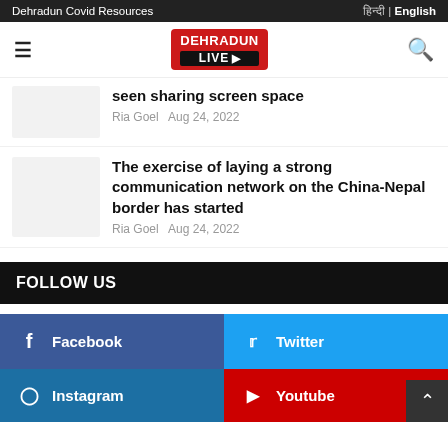Dehradun Covid Resources | हिन्दी | English
[Figure (logo): Dehradun Live logo - red background with DEHRADUN in white and LIVE in black bar with camera icon]
seen sharing screen space
Ria Goel  Aug 24, 2022
The exercise of laying a strong communication network on the China-Nepal border has started
Ria Goel  Aug 24, 2022
FOLLOW US
Facebook
Twitter
Instagram
Youtube